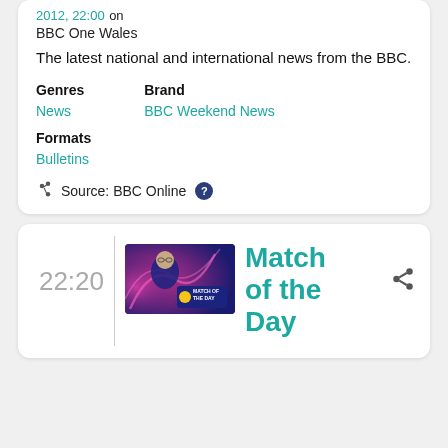2012, 22:00 on BBC One Wales
The latest national and international news from the BBC.
Genres
News
Brand
BBC Weekend News
Formats
Bulletins
Source: BBC Online
22:20
[Figure (photo): Match of the Day thumbnail showing a man with glasses against a pink/purple swirling background with the Match of the Day logo]
Match of the Day